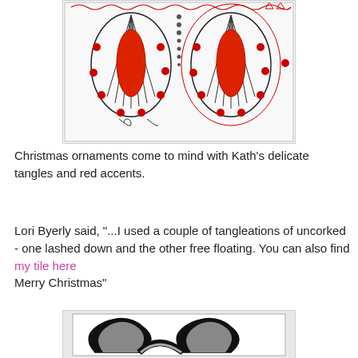[Figure (illustration): Zentangle art tile showing two ornament-like teardrop shapes with black line tangles, red oval accents inside, and red dot decorations on a white background with red decorative border elements.]
Christmas ornaments come to mind with Kath's delicate tangles and red accents.
Lori Byerly said, "...I used a couple of tangleations of uncorked - one lashed down and the other free floating. You can also find my tile here
Merry Christmas"
[Figure (illustration): Zentangle art tile showing black bold curved shapes resembling uncorked tangleation pattern on a gray shaded background within a rectangular border.]